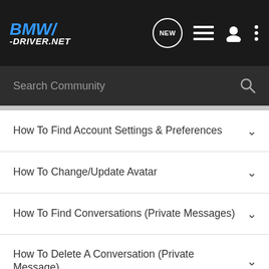BMW/-DRIVER.NET
Search Community
How To Find Account Settings & Preferences
How To Change/Update Avatar
How To Find Conversations (Private Messages)
How To Delete A Conversation (Private Message)
How To Find Subscribed Threads
How To Switch Between Dark Mode & Light Mode